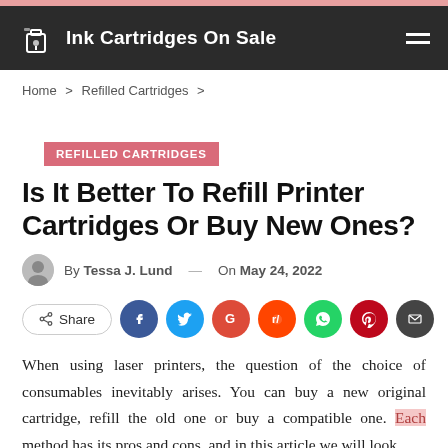Ink Cartridges On Sale
Home > Refilled Cartridges >
REFILLED CARTRIDGES
Is It Better To Refill Printer Cartridges Or Buy New Ones?
By Tessa J. Lund — On May 24, 2022
Share
When using laser printers, the question of the choice of consumables inevitably arises. You can buy a new original cartridge, refill the old one or buy a compatible one. Each method has its pros and cons, and in this article we will look